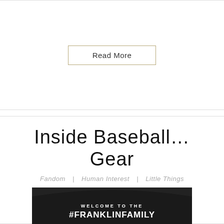[Figure (other): Hamburger menu icon (three horizontal lines) in top right corner]
Read More
Inside Baseball... Gear
Fandom   Human Interest   Little Things
[Figure (photo): Black banner reading 'WELCOME TO THE #FRANKLINFAMILY' with Instagram, Facebook, Twitter handles for Franklin Sports, with baseball gear items below]